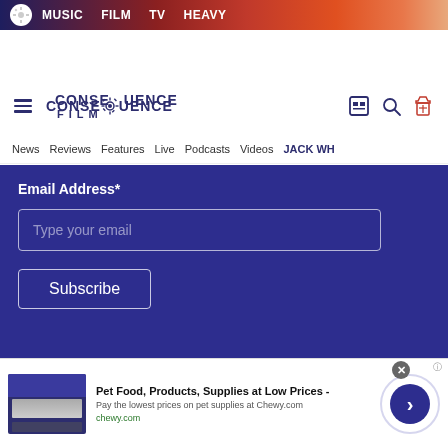MUSIC  FILM  TV  HEAVY
[Figure (logo): Consequence Film logo with gear icon, hamburger menu, search and ticket icons]
News  Reviews  Features  Live  Podcasts  Videos  JACK WH
Email Address*
Type your email
Subscribe
Leave a comment
Pet Food, Products, Supplies at Low Prices - Pay the lowest prices on pet supplies at Chewy.com chewy.com